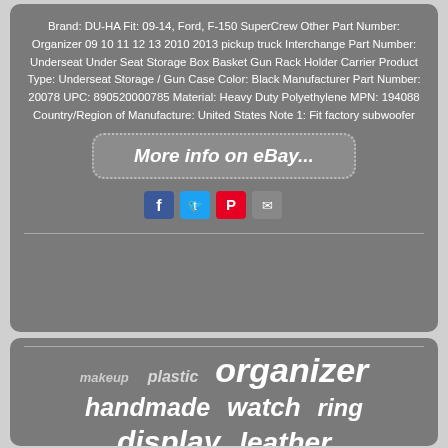Brand: DU-HA Fit: 09-14, Ford, F-150 SuperCrew Other Part Number: Organizer 09 10 11 12 13 2010 2013 pickup truck Interchange Part Number: Underseat Under Seat Storage Box Basket Gun Rack Holder Carrier Product Type: Underseat Storage / Gun Case Color: Black Manufacturer Part Number: 20078 UPC: 890520000785 Material: Heavy Duty Polyethylene MPN: 194088 Country/Region of Manufacture: United States Note 1: Fit factory subwoofer
[Figure (screenshot): eBay listing button with dotted border saying 'More info on eBay...']
[Figure (infographic): Social share icons: Facebook (blue), Twitter (blue), Pinterest (red), Email (grey)]
[Figure (infographic): Word cloud on grey background with words: makeup, plastic, organizer (large), handmade, watch, ring, display, leather]